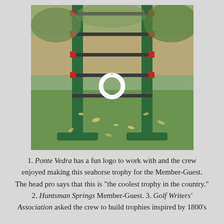[Figure (photo): Photograph of a green metal ladder golf / bolo toss game frame standing on grass, with a white ring hanging from one of the rungs. Background shows gravel, plants and lawn.]
1. Ponte Vedra has a fun logo to work with and the crew enjoyed making this seahorse trophy for the Member-Guest. The head pro says that this is "the coolest trophy in the country." 2. Huntsman Springs Member-Guest. 3. Golf Writers' Association asked the crew to build trophies inspired by 1800's